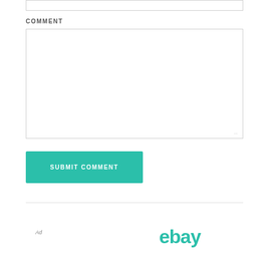[Figure (screenshot): Top portion of an input field (text box), partially visible at the top of the page]
COMMENT
[Figure (screenshot): Large comment textarea input box, empty, with resize handle at bottom-right]
[Figure (screenshot): Teal 'SUBMIT COMMENT' button]
[Figure (screenshot): Horizontal divider line separating content from footer area]
Ad
[Figure (logo): eBay logo in teal color]